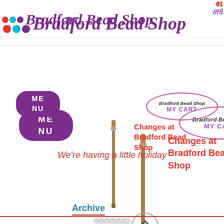01
ord
[Figure (logo): Bradford Bead Shop logo with three circles (red, cyan, purple) and italic purple text]
[Figure (other): Purple oval MENU button]
[Figure (other): Oval outline with Bradford Bead Shop text and MY CART label]
[Figure (photo): A thin brush/pen product image]
Changes at Bradford Bead Shop
[Figure (other): Circle with upward chevron arrow (back to top button)]
We're having a little holiday
Archive